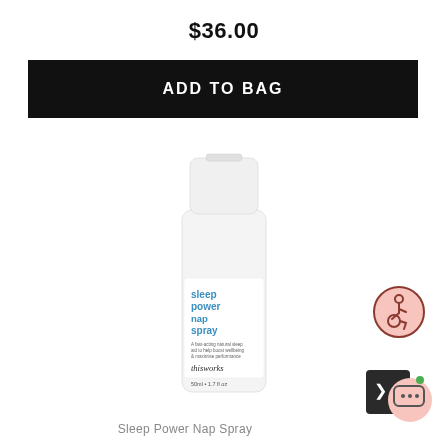$36.00
ADD TO BAG
[Figure (photo): White cylindrical spray bottle labeled 'sleep power nap spray' by thisworks, 50ml / 1.7 fl oz]
[Figure (illustration): Accessibility icon: person in wheelchair inside pink circle]
[Figure (illustration): Chat/messenger icon: speech bubble with ellipsis inside pink circle with green dot, overlapping a dark square panel]
Sleep Power Nap Spray